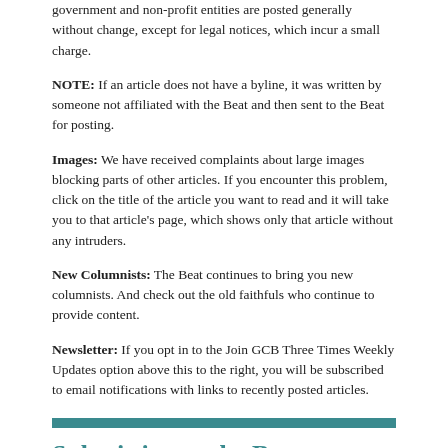government and non-profit entities are posted generally without change, except for legal notices, which incur a small charge.
NOTE: If an article does not have a byline, it was written by someone not affiliated with the Beat and then sent to the Beat for posting.
Images: We have received complaints about large images blocking parts of other articles. If you encounter this problem, click on the title of the article you want to read and it will take you to that article's page, which shows only that article without any intruders.
New Columnists: The Beat continues to bring you new columnists. And check out the old faithfuls who continue to provide content.
Newsletter: If you opt in to the Join GCB Three Times Weekly Updates option above this to the right, you will be subscribed to email notifications with links to recently posted articles.
Submitting to the Beat
Those new to providing news releases to the Beat are asked to please check out submission guidelines at https://www.grantcountybeat.com/about/submissions. They are for your information to make life easier on the readers, as well as for the